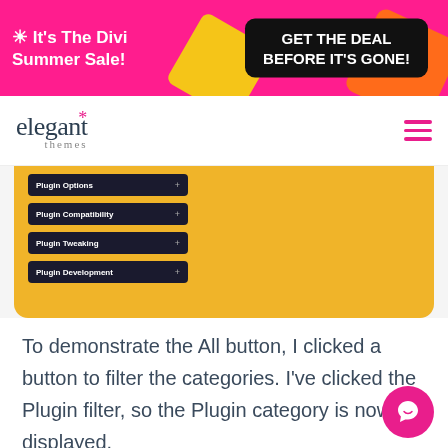[Figure (screenshot): Divi Summer Sale promotional banner with pink background, 'It's The Divi Summer Sale!' text on left and 'GET THE DEAL BEFORE IT'S GONE!' dark button on right]
[Figure (logo): Elegant Themes logo with asterisk/star above the 'a' in elegant, and hamburger menu icon on the right]
[Figure (screenshot): Yellow/orange background UI screenshot showing plugin category menu items: Plugin Options, Plugin Compatibility, Plugin Tweaking, Plugin Development]
To demonstrate the All button, I clicked a button to filter the categories. I’ve clicked the Plugin filter, so the Plugin category is now displayed.